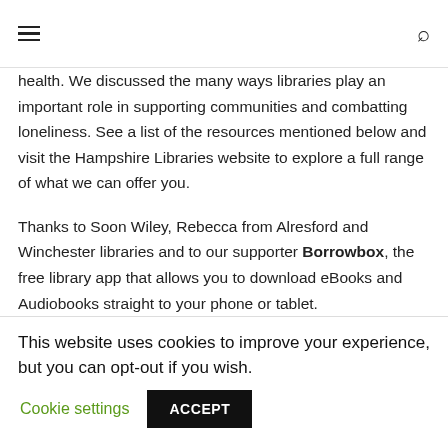≡  🔍
health. We discussed the many ways libraries play an important role in supporting communities and combatting loneliness. See a list of the resources mentioned below and visit the Hampshire Libraries website to explore a full range of what we can offer you.
Thanks to Soon Wiley, Rebecca from Alresford and Winchester libraries and to our supporter Borrowbox, the free library app that allows you to download eBooks and Audiobooks straight to your phone or tablet.
If you enjoyed this episode, you might also like our
This website uses cookies to improve your experience, but you can opt-out if you wish.  Cookie settings  ACCEPT